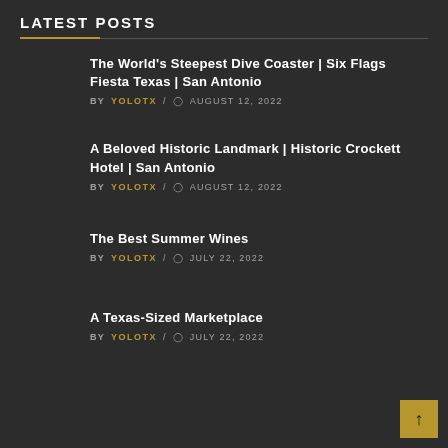LATEST POSTS
The World’s Steepest Dive Coaster | Six Flags Fiesta Texas | San Antonio — BY YOLOTX / AUGUST 12, 2022
A Beloved Historic Landmark | Historic Crockett Hotel | San Antonio — BY YOLOTX / AUGUST 12, 2022
The Best Summer Wines — BY YOLOTX / JULY 22, 2022
A Texas-Sized Marketplace — BY YOLOTX / JULY 22, 2022